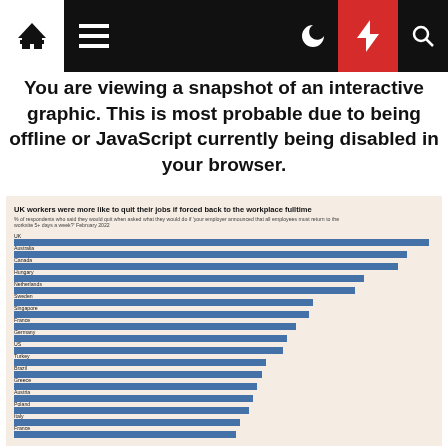[Navigation bar with home, menu, moon, bolt, search icons]
You are viewing a snapshot of an interactive graphic. This is most probable due to being offline or JavaScript currently being disabled in your browser.
[Figure (bar-chart): UK workers were more like to quit their jobs if forced back to the workplace fulltime]